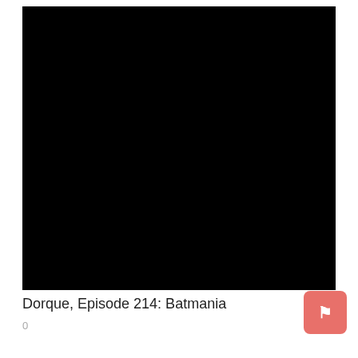[Figure (photo): Completely black image/video thumbnail]
Dorque, Episode 214: Batmania
0
[Figure (other): Red/salmon colored rounded square button with a white bookmark/flag icon]